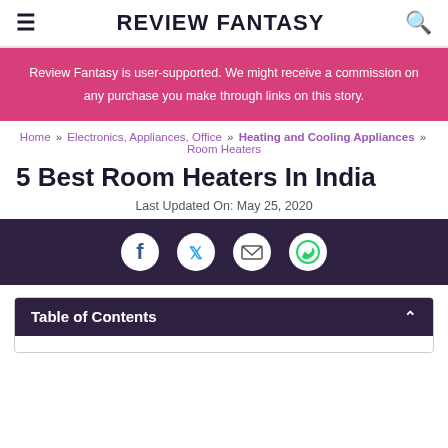REVIEW FANTASY
Review Fantasy is user-supported. We might receive a commission on any purchase you make through links on this story.
Home » Electronics, Appliances, Office » Heating and Cooling Appliances » Room Heaters
5 Best Room Heaters In India
Last Updated On: May 25, 2020
[Figure (infographic): Social share icons: Facebook, Twitter, Email, WhatsApp on dark purple background]
Table of Contents